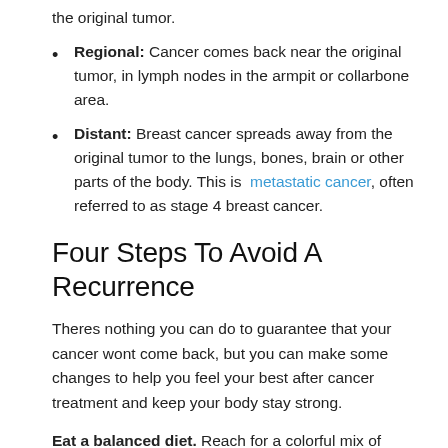the original tumor.
Regional: Cancer comes back near the original tumor, in lymph nodes in the armpit or collarbone area.
Distant: Breast cancer spreads away from the original tumor to the lungs, bones, brain or other parts of the body. This is metastatic cancer, often referred to as stage 4 breast cancer.
Four Steps To Avoid A Recurrence
Theres nothing you can do to guarantee that your cancer wont come back, but you can make some changes to help you feel your best after cancer treatment and keep your body stay strong.
Eat a balanced diet. Reach for a colorful mix of fruits and